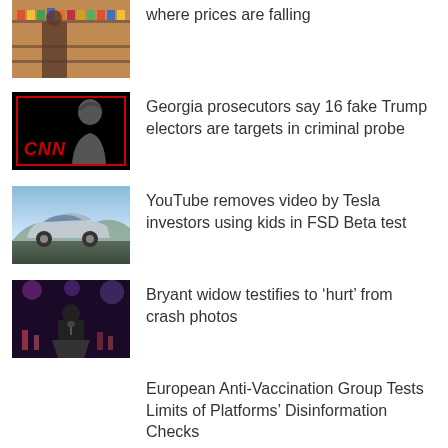[Figure (photo): Grocery store shelves with products]
where prices are falling
[Figure (photo): CNN news thumbnail showing silhouette of Trump on black background with red CNN logo and red border]
Georgia prosecutors say 16 fake Trump electors are targets in criminal probe
[Figure (photo): Tesla car on road]
YouTube removes video by Tesla investors using kids in FSD Beta test
[Figure (photo): Woman speaking at a podium with colorful lights in background]
Bryant widow testifies to 'hurt' from crash photos
European Anti-Vaccination Group Tests Limits of Platforms' Disinformation Checks
[Figure (photo): Partial news thumbnail at bottom]
Michael Gove backs Sunak for Tory leader – as